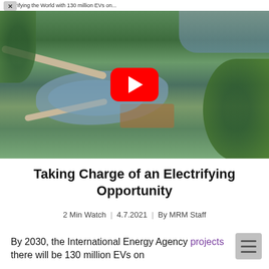Electrifying the World with 130 million EVs on...
[Figure (screenshot): Aerial drone photo of a park with winding river/pond, walking paths, trees, docks, and city buildings in background. A YouTube play button overlay is visible in the center.]
Taking Charge of an Electrifying Opportunity
2 Min Watch  |  4.7.2021  |  By MRM Staff
By 2030, the International Energy Agency projects there will be 130 million EVs on